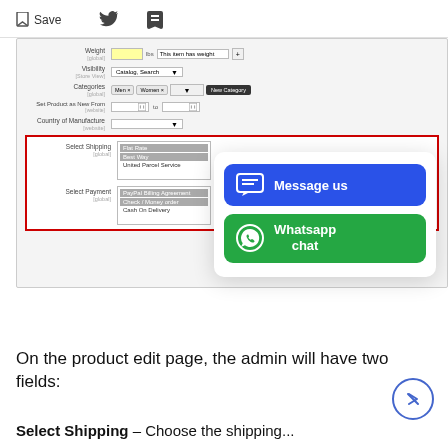[Figure (screenshot): Save button with bookmark icon, Twitter bird icon, and Facebook icon in page header toolbar]
[Figure (screenshot): Product edit form screenshot showing fields: Weight, Visibility, Categories, Set Product as New From/to, Country of Manufacture, Select Shipping (with Flat Rate, Best Way, United Parcel Service options), Select Payment (with PayPal Billing Agreement, Check/Money Order, Cash On Delivery options). Overlaid with a Message us (blue) button and Whatsapp chat (green) button panel.]
On the product edit page, the admin will have two fields:
Select Shipping – Choose the shipping...